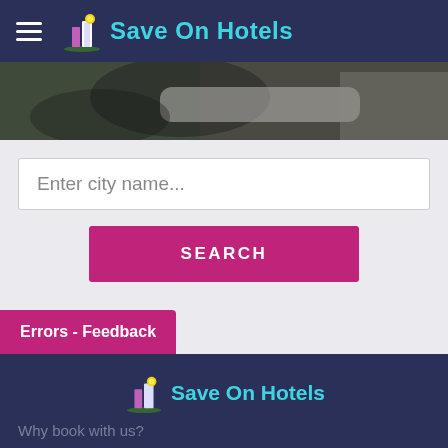Save On Hotels
[Figure (photo): Close-up photo of a car door handle and body panel, dark tones]
Enter city name...
SEARCH
Errors - Feedback
[Figure (logo): Save On Hotels logo with building icon]
Why book with us?